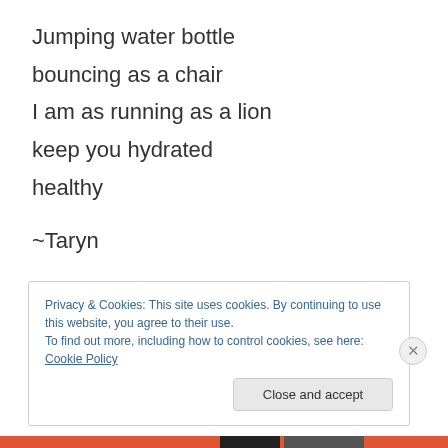Jumping water bottle
bouncing as a chair
I am as running as a lion
keep you hydrated
healthy
~Taryn
The restless recorder
I am as cheesy as a chisel
definitely delicate
Privacy & Cookies: This site uses cookies. By continuing to use this website, you agree to their use. To find out more, including how to control cookies, see here: Cookie Policy
Close and accept